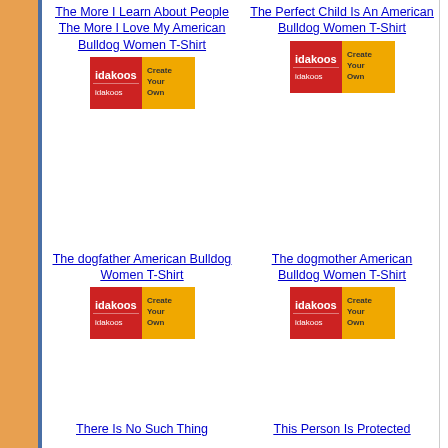[Figure (other): Left orange/tan vertical border strip with blue right edge]
The More I Learn About People The More I Love My American Bulldog Women T-Shirt
[Figure (logo): Idakoos Create Your Own badge - red and yellow logo]
The Perfect Child Is An American Bulldog Women T-Shirt
[Figure (logo): Idakoos Create Your Own badge - red and yellow logo]
The dogfather American Bulldog Women T-Shirt
[Figure (logo): Idakoos Create Your Own badge - red and yellow logo]
The dogmother American Bulldog Women T-Shirt
[Figure (logo): Idakoos Create Your Own badge - red and yellow logo]
There Is No Such Thing
This Person Is Protected